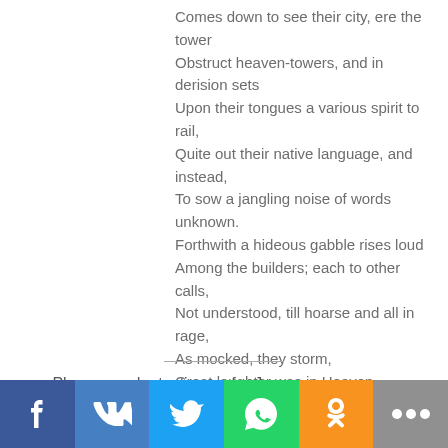Comes down to see their city, ere the tower
Obstruct heaven-towers, and in derision sets
Upon their tongues a various spirit to rail,
Quite out their native language, and instead,
To sow a jangling noise of words unknown.
Forthwith a hideous gabble rises loud
Among the builders; each to other calls,
Not understood, till hoarse and all in rage,
As mocked, they storm,
Great laughter was in Heaven,
And looking, down to see the hubbub
Strange, And hear the din, Thus was the
Building left Rediculous, and the work
confusion named." —
Please send a testimony for Jesus.
[Figure (other): Social media share buttons: Facebook, VK, Twitter, WhatsApp, Odnoklassniki, More (ellipsis)]